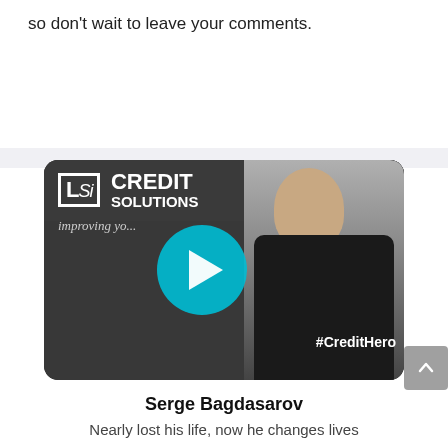so don’t wait to leave your comments.
[Figure (screenshot): Video thumbnail for LSi Credit Solutions featuring a bald man wearing a #CreditHero shirt, with a cyan play button overlay in the center. Logo shows 'LSi CREDIT SOLUTIONS' and tagline 'improving yo...' in the upper left.]
Serge Bagdasarov
Nearly lost his life, now he changes lives